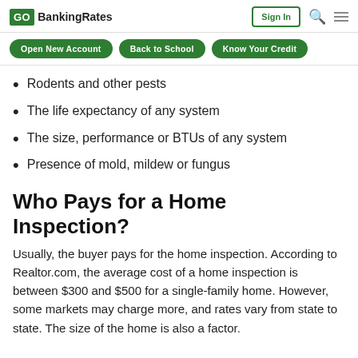GOBankingRates | Sign In
Rodents and other pests
The life expectancy of any system
The size, performance or BTUs of any system
Presence of mold, mildew or fungus
Who Pays for a Home Inspection?
Usually, the buyer pays for the home inspection. According to Realtor.com, the average cost of a home inspection is between $300 and $500 for a single-family home. However, some markets may charge more, and rates vary from state to state. The size of the home is also a factor.